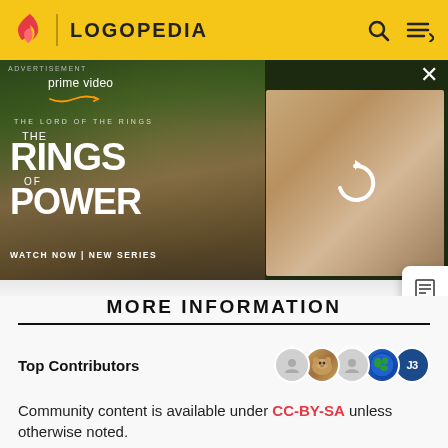LOGOPEDIA
[Figure (screenshot): Amazon Prime Video advertisement for 'The Lord of the Rings: The Rings of Power' new series, with 'WATCH NOW | NEW SERIES' text and two image panels]
MORE INFORMATION
Top Contributors
Categories
Community content is available under CC-BY-SA unless otherwise noted.